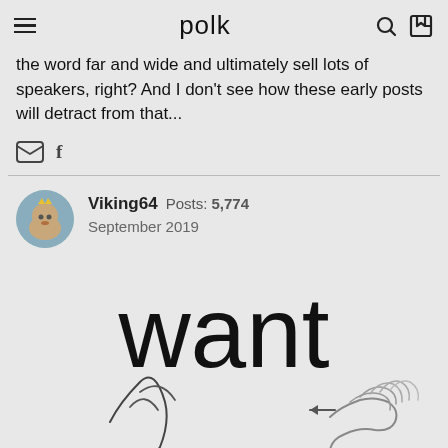polk
the word far and wide and ultimately sell lots of speakers, right? And I don't see how these early posts will detract from that...
Viking64  Posts: 5,774
September 2019
[Figure (illustration): Meme image with large text 'want' and a sketch of hands/arms reaching, on a light gray background]